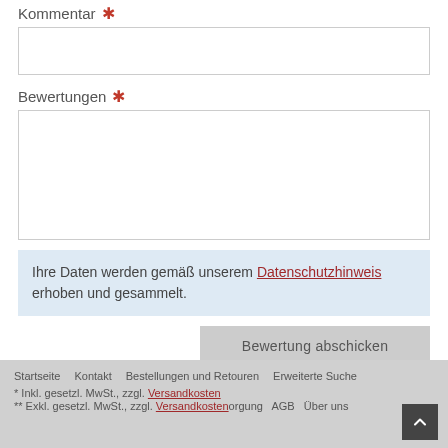Kommentar *
[Figure (screenshot): Empty short text input field for Kommentar]
Bewertungen *
[Figure (screenshot): Empty tall textarea for Bewertungen with resize handle]
Ihre Daten werden gemäß unserem Datenschutzhinweis erhoben und gesammelt.
Bewertung abschicken
Startseite   Kontakt   Bestellungen und Retouren   Erweiterte Suche
* Inkl. gesetzl. MwSt., zzgl. Versandkosten
** Exkl. gesetzl. MwSt., zzgl. Versandkosten ... AGB   Über uns